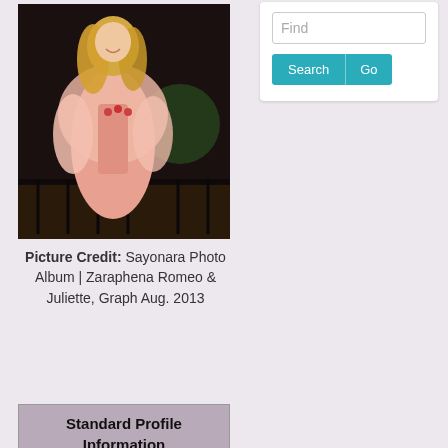[Figure (photo): A performer in a pink dress and cape on stage, with blonde hair, standing in front of dark stage scenery]
[Figure (screenshot): Search widget with a Find text input field and Search / Go buttons in teal]
Picture Credit: Sayonara Photo Album | Zaraphena Romeo & Juliette, Graph Aug. 2013
Standard Profile Information